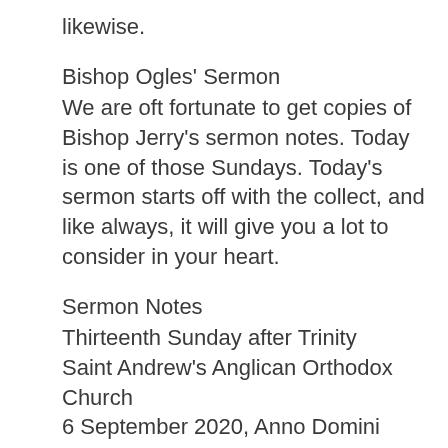likewise.
Bishop Ogles' Sermon
We are oft fortunate to get copies of Bishop Jerry's sermon notes. Today is one of those Sundays. Today's sermon starts off with the collect, and like always, it will give you a lot to consider in your heart.
Sermon Notes
Thirteenth Sunday after Trinity
Saint Andrew's Anglican Orthodox Church
6 September 2020, Anno Domini
The Thirteenth Sunday after Trinity.
The Collect.